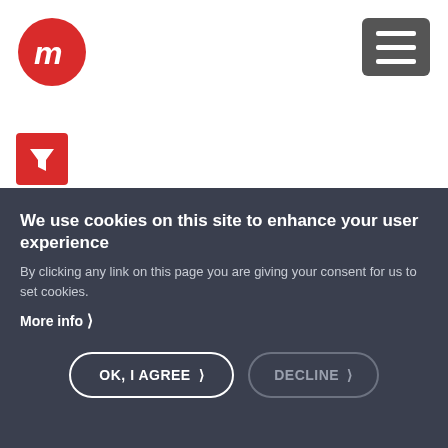[Figure (logo): Red circular logo with white stylized 'OM' or similar letter mark]
[Figure (other): Dark grey hamburger menu icon (three horizontal lines)]
[Figure (other): Red square funnel/filter icon]
We use cookies on this site to enhance your user experience
By clicking any link on this page you are giving your consent for us to set cookies.
More info ❯
OK, I AGREE ❯
DECLINE ❯